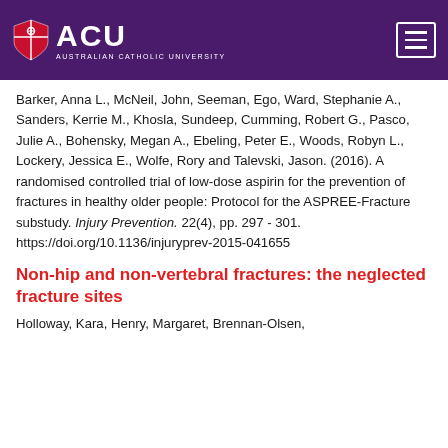ACU Australian Catholic University
Barker, Anna L., McNeil, John, Seeman, Ego, Ward, Stephanie A., Sanders, Kerrie M., Khosla, Sundeep, Cumming, Robert G., Pasco, Julie A., Bohensky, Megan A., Ebeling, Peter E., Woods, Robyn L., Lockery, Jessica E., Wolfe, Rory and Talevski, Jason. (2016). A randomised controlled trial of low-dose aspirin for the prevention of fractures in healthy older people: Protocol for the ASPREE-Fracture substudy. Injury Prevention. 22(4), pp. 297 - 301. https://doi.org/10.1136/injuryprev-2015-041655
Non-hip and non-vertebral fractures: the neglected fracture sites
Holloway, Kara, Henry, Margaret, Brennan-Olsen,